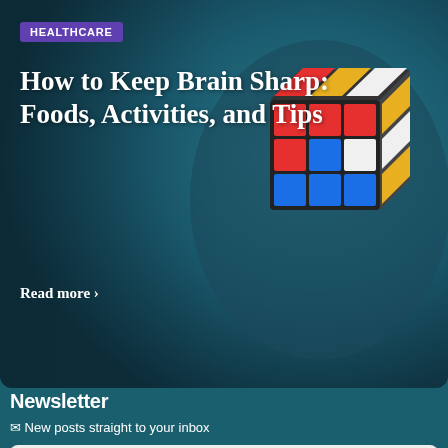[Figure (photo): Article card with dark teal background showing hands holding a Rubik's cube, with 'HEALTHCARE' badge in purple]
HEALTHCARE
How to Keep Brain Sharp: Foods, Activities, and Tips
Read more >
Newsletter
✉ New posts straight to your inbox
Email address
Subscribe
No spam ever. Read our Privacy Policy